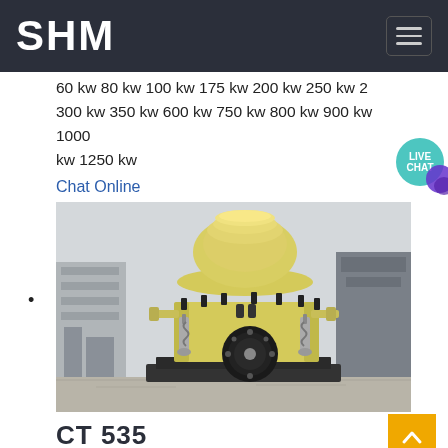SHM
60 kw 80 kw 100 kw 175 kw 200 kw 250 kw 2... 300 kw 350 kw 600 kw 750 kw 800 kw 900 kw 1000 kw 1250 kw
Chat Online
[Figure (photo): Yellow cone crusher (CT 535) photographed outdoors at an industrial site. The machine is heavy-duty yellow with a rounded top, multiple bolts and hydraulic cylinders, and a large black flywheel at the base. Industrial buildings and other equipment visible in the background.]
CT 535
MOBILE CRUSHERS CT 535 CT 535 jaw crusher gives a